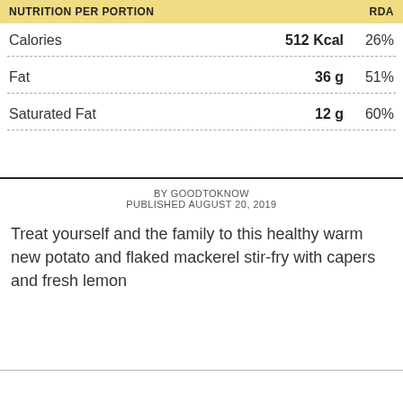| NUTRITION PER PORTION |  | RDA |
| --- | --- | --- |
| Calories | 512 Kcal | 26% |
| Fat | 36 g | 51% |
| Saturated Fat | 12 g | 60% |
BY GOODTOKNOW
PUBLISHED AUGUST 20, 2019
Treat yourself and the family to this healthy warm new potato and flaked mackerel stir-fry with capers and fresh lemon